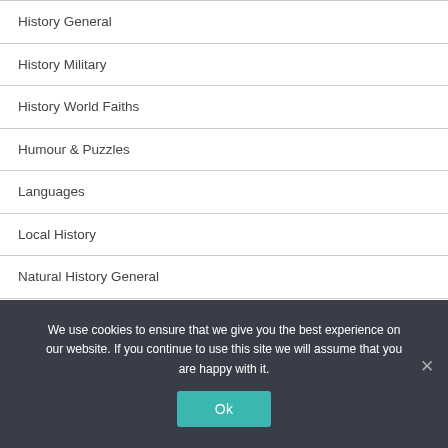History General
History Military
History World Faiths
Humour & Puzzles
Languages
Local History
Natural History General
Natural History Groundswell
We use cookies to ensure that we give you the best experience on our website. If you continue to use this site we will assume that you are happy with it.